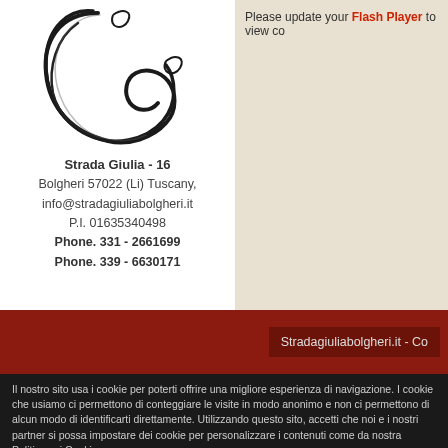[Figure (logo): Stylized cursive letter G logo for Strada Giulia Bolgheri]
Strada Giulia - 16
Bolgheri 57022 (Li) Tuscany,
info@stradagiuliabolgheri.it
P.I. 01635340498
Phone. 331 - 2661699
Phone. 339 - 6630171
Please update your Flash Player to view co
Stradagiuliabolgheri.it - Co
Il nostro sito usa i cookie per poterti offrire una migliore esperienza di navigazione. I cookie che usiamo ci permettono di conteggiare le visite in modo anonimo e non ci permettono di alcun modo di identificarti direttamente. Utilizzando questo sito, accetti che noi e i nostri partner si possa impostare dei cookie per personalizzare i contenuti come da nostra Politica sui Cookies.
Clicca OK per chiudere la finestra informativa  OK